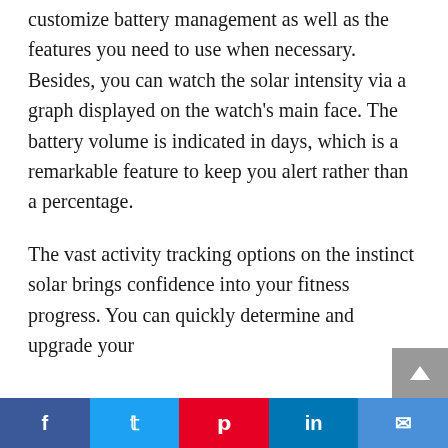customize battery management as well as the features you need to use when necessary. Besides, you can watch the solar intensity via a graph displayed on the watch's main face. The battery volume is indicated in days, which is a remarkable feature to keep you alert rather than a percentage.
The vast activity tracking options on the instinct solar brings confidence into your fitness progress. You can quickly determine and upgrade your